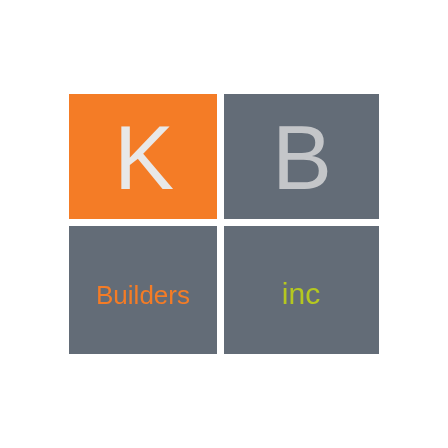[Figure (logo): KB Builders Inc logo: four squares arranged in a 2x2 grid. Top-left: orange square with white letter K. Top-right: dark gray square with light gray letter B. Bottom-left: dark gray square with orange text 'Builders'. Bottom-right: dark gray square with yellow-green text 'inc'.]